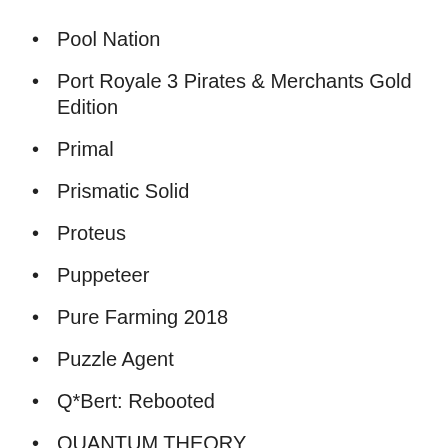Pool Nation
Port Royale 3 Pirates & Merchants Gold Edition
Primal
Prismatic Solid
Proteus
Puppeteer
Pure Farming 2018
Puzzle Agent
Q*Bert: Rebooted
QUANTUM THEORY
Rag Doll Kung Fu: Fists of Plastic
RAGE
Ragnarok Odyssey ACE